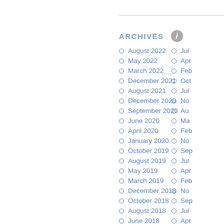ARCHIVES
August 2022
May 2022
March 2022
December 2021
August 2021
December 2020
September 2020
June 2020
April 2020
January 2020
October 2019
August 2019
May 2019
March 2019
December 2018
October 2018
August 2018
June 2018